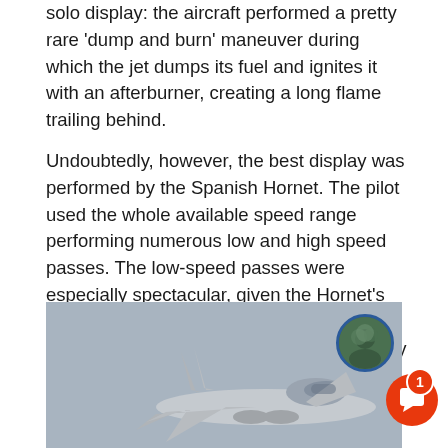solo display: the aircraft performed a pretty rare ‘dump and burn’ maneuver during which the jet dumps its fuel and ignites it with an afterburner, creating a long flame trailing behind.
Undoubtedly, however, the best display was performed by the Spanish Hornet. The pilot used the whole available speed range performing numerous low and high speed passes. The low-speed passes were especially spectacular, given the Hornet’s nose authority and high angle-of-attack performance. To spice things up, the display was also full of flares. Hands down, it may be said that Hornet’s solo was the icing on the cake during the event in Siauliai.
[Figure (photo): A military fighter jet (F/A-18 Hornet) photographed from below/behind against a gray sky, showing the tail fins and wings. In the lower right corner there is an orange circular chat/notification button with a white speech bubble icon and a badge showing the number 1, plus a circular avatar photo in the upper right.]